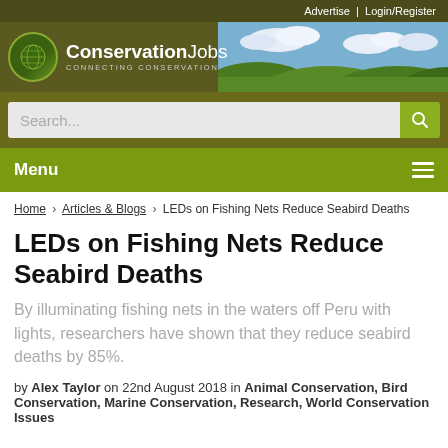Advertise | Login/Register
[Figure (logo): ConservationJobs logo with globe icon and tagline CONNECTING CONSERVATION, with landscape banner photo on the right]
Search...
Menu
Home › Articles & Blogs › LEDs on Fishing Nets Reduce Seabird Deaths
LEDs on Fishing Nets Reduce Seabird Deaths
By illuminating fishing nets in the waters off Peru with lights, researchers have shown that they reduce seabird deaths by 85%.
by Alex Taylor on 22nd August 2018 in Animal Conservation, Bird Conservation, Marine Conservation, Research, World Conservation Issues